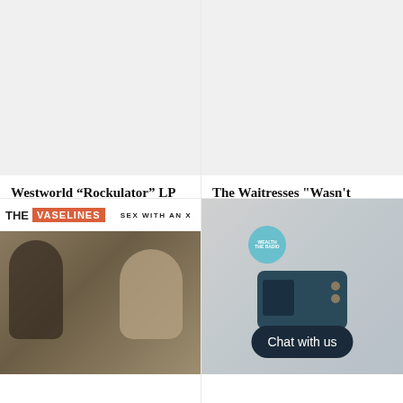[Figure (photo): Placeholder product image (light gray background) for Westworld Rockulator LP]
Westworld “Rockulator” LP (1987)
$8.00
[Figure (photo): Placeholder product image (light gray background) for The Waitresses Wasn't Tomorrow Wonderful?]
The Waitresses "Wasn't Tomorrow Wonderful?" (1982)
$13.00
[Figure (photo): Album cover for The Vaselines - Sex With An X, showing two figures in a black and white photo with the band name and album title at the top]
[Figure (photo): Photo of a vintage radio/record player with a teal circular badge, overlaid with a dark Chat with us button]